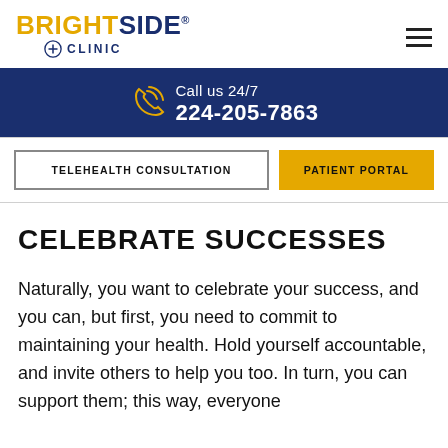[Figure (logo): BrightSide Clinic logo with yellow BRIGHT and navy SIDE text, plus circle cross icon and CLINIC text below]
Call us 24/7
224-205-7863
TELEHEALTH CONSULTATION
PATIENT PORTAL
CELEBRATE SUCCESSES
Naturally, you want to celebrate your success, and you can, but first, you need to commit to maintaining your health. Hold yourself accountable, and invite others to help you too. In turn, you can support them; this way, everyone